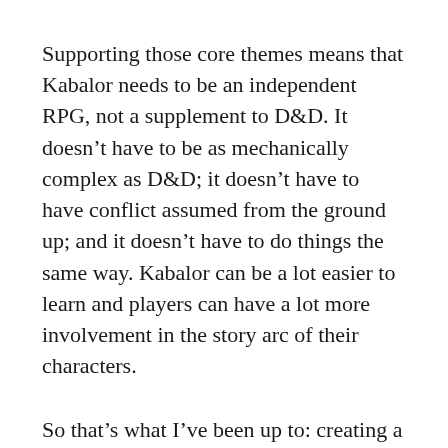Supporting those core themes means that Kabalor needs to be an independent RPG, not a supplement to D&D. It doesn't have to be as mechanically complex as D&D; it doesn't have to have conflict assumed from the ground up; and it doesn't have to do things the same way. Kabalor can be a lot easier to learn and players can have a lot more involvement in the story arc of their characters.
So that's what I've been up to: creating a completely independent, original game driven by those core themes. I've also been incorporating player feedback and making the world easier to engage with by merging down